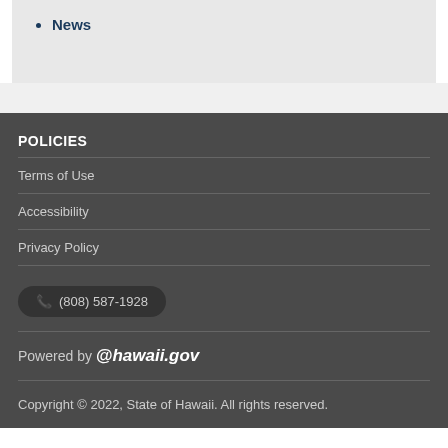News
POLICIES
Terms of Use
Accessibility
Privacy Policy
(808) 587-1928
Powered by @hawaii.gov
Copyright © 2022, State of Hawaii. All rights reserved.